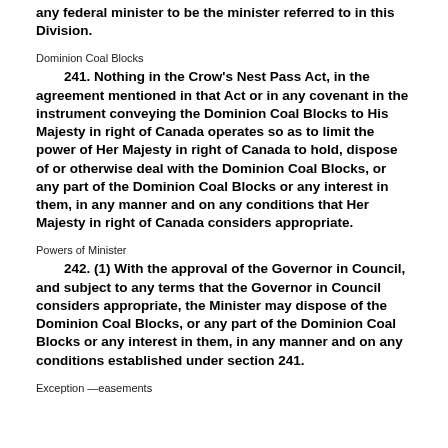any federal minister to be the minister referred to in this Division.
Dominion Coal Blocks
241. Nothing in the Crow's Nest Pass Act, in the agreement mentioned in that Act or in any covenant in the instrument conveying the Dominion Coal Blocks to His Majesty in right of Canada operates so as to limit the power of Her Majesty in right of Canada to hold, dispose of or otherwise deal with the Dominion Coal Blocks, or any part of the Dominion Coal Blocks or any interest in them, in any manner and on any conditions that Her Majesty in right of Canada considers appropriate.
Powers of Minister
242. (1) With the approval of the Governor in Council, and subject to any terms that the Governor in Council considers appropriate, the Minister may dispose of the Dominion Coal Blocks, or any part of the Dominion Coal Blocks or any interest in them, in any manner and on any conditions established under section 241.
Exception —easements